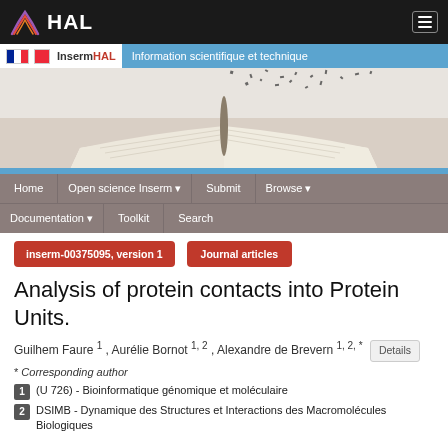HAL
[Figure (screenshot): InsermHAL banner with book image and navigation menu. Header shows InsermHAL logo with tagline 'Information scientifique et technique'. Navigation items: Home, Open science Inserm, Submit, Browse, Documentation, Toolkit, Search.]
inserm-00375095, version 1
Journal articles
Analysis of protein contacts into Protein Units.
Guilhem Faure 1 , Aurélie Bornot 1, 2 , Alexandre de Brevern 1, 2, * Details
* Corresponding author
1 (U 726) - Bioinformatique génomique et moléculaire
2 DSIMB - Dynamique des Structures et Interactions des Macromolécules Biologiques